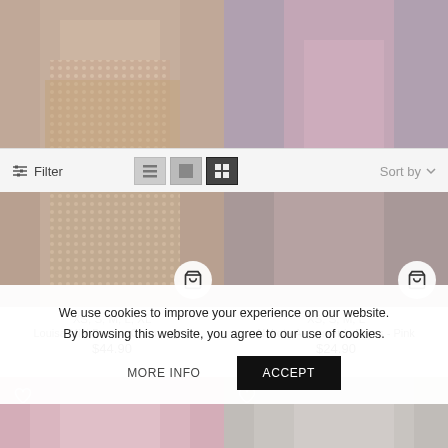[Figure (photo): Top row: two product photos, left shows a champagne glitter mini skirt, right shows a pink satin dress from waist down]
Filter
Sort by
XS, S, M, L, XL
Louisa Mini Dress - Champagne
$44.90
XS, S, M, L
Nakota Asymmetric Dress - Pink
$24.90
[Figure (photo): Bottom row: two product photos of models, left with pink satin background, right with white halter dress]
We use cookies to improve your experience on our website.
By browsing this website, you agree to our use of cookies.
MORE INFO
ACCEPT